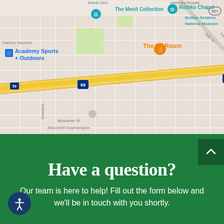[Figure (map): Google Maps screenshot showing area of Houston, TX including landmarks: The Menil Collection, Rothko Chapel, Buffalo Soldiers National Museum, The Pit Room restaurant, Academy Sports + Outdoors, US-59 HOV Lane, Richmond Ave, The Museum of Fine Arts Houston, Holocaust Museum Houston, with street grid and interstate 69 highway visible.]
Have a question?
Our team is here to help! Fill out the form below and we'll be in touch with you shortly.